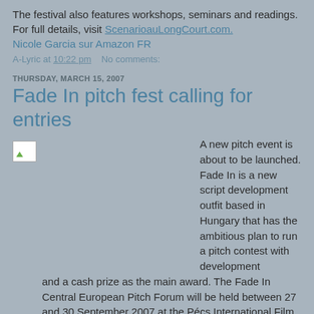The festival also features workshops, seminars and readings. For full details, visit ScenarioauLongCourt.com.
Nicole Garcia sur Amazon FR
A-Lyric at 10:22 pm    No comments:
THURSDAY, MARCH 15, 2007
Fade In pitch fest calling for entries
[Figure (photo): Small broken image placeholder icon]
A new pitch event is about to be launched. Fade In is a new script development outfit based in Hungary that has the ambitious plan to run a pitch contest with development and a cash prize as the main award. The Fade In Central European Pitch Forum will be held between 27 and 30 September 2007 at the Pécs International Film Festival in the south of Hungary. The event, basically a screenplay market, is designed to locate the hottest of the new screenwriting talent in the whole of Europe and facilitate their meeting with some of the best producers in the continent.